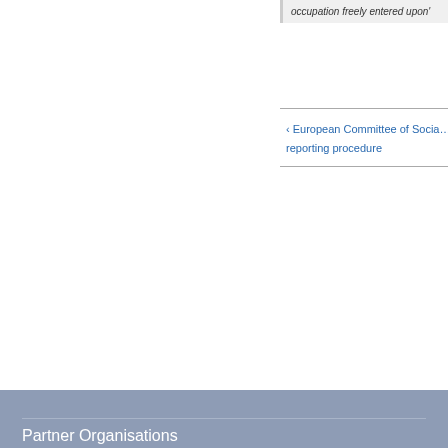occupation freely entered upon'
‹ European Committee of Social reporting procedure
Partner Organisations
[Figure (logo): Logo: two hands holding crossed rifles/guns (anti-war symbol)]
[Figure (logo): Logo: red four-pointed star with laurel wreath (organization emblem)]
[Figure (logo): Logo: circular badge with dove and text 'taxes for peace not war']
[Figure (logo): Logo: partial 'CO' letters in blue-grey (organization acronym)]